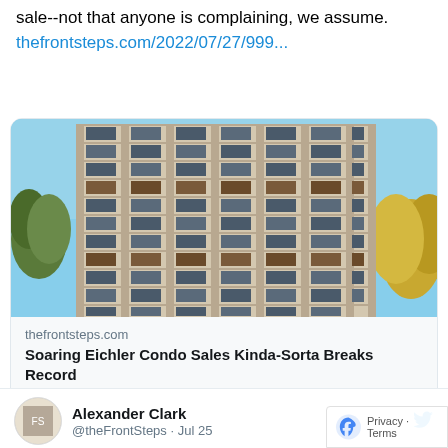sale--not that anyone is complaining, we assume. thefrontsteps.com/2022/07/27/999...
[Figure (photo): Exterior photo of a tall multi-story Eichler-style concrete condominium building against a blue sky, with trees visible on left and right sides.]
thefrontsteps.com
Soaring Eichler Condo Sales Kinda-Sorta Breaks Record
Alexander Clark @theFrontSteps · Jul 25
It may not always be fair, but the fact